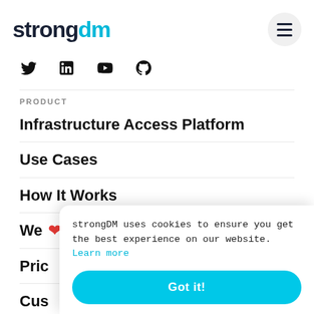strongdm (logo) + hamburger menu
[Figure (logo): strongdm logo with 'strong' in dark navy and 'dm' in cyan, with hamburger menu button on right]
[Figure (infographic): Social media icons: Twitter bird, LinkedIn 'in', YouTube play button, GitHub octocat]
PRODUCT
Infrastructure Access Platform
Use Cases
How It Works
We ❤ Your Stack
Pricing
Customers
strongDM uses cookies to ensure you get the best experience on our website. Learn more
Got it!